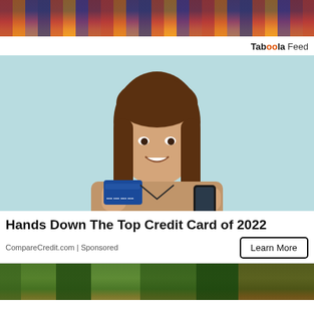[Figure (photo): Top cropped image showing colorful city lights or similar scene, partially visible]
Taboola Feed
[Figure (photo): Young woman with long brown hair smiling, holding a blue credit card in one hand and a smartphone in the other, standing against a light teal background]
Hands Down The Top Credit Card of 2022
CompareCredit.com | Sponsored
[Figure (photo): Bottom partially visible image showing a green field or sports ground scene]